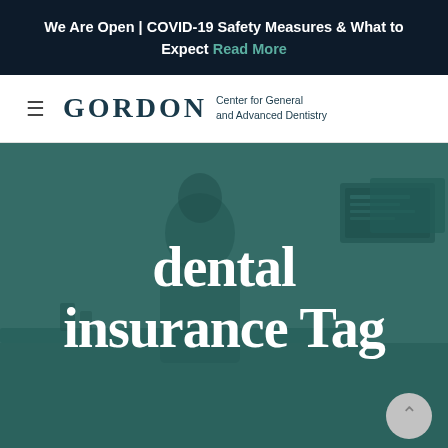We Are Open | COVID-19 Safety Measures & What to Expect Read More
[Figure (logo): Gordon Center for General and Advanced Dentistry logo with hamburger menu icon]
[Figure (photo): Hero banner image showing a dental office receptionist at a desk with monitors in the background, overlaid with teal/dark green color and white text reading 'dental insurance Tag']
dental insurance Tag